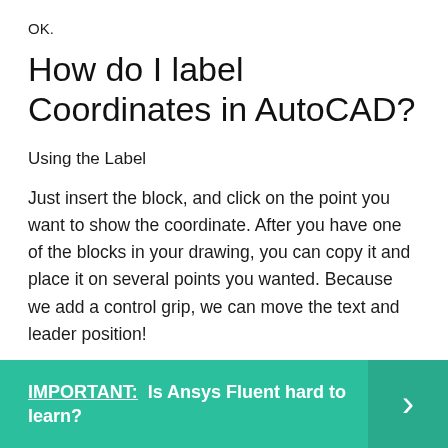OK.
How do I label Coordinates in AutoCAD?
Using the Label
Just insert the block, and click on the point you want to show the coordinate. After you have one of the blocks in your drawing, you can copy it and place it on several points you wanted. Because we add a control grip, we can move the text and leader position!
IMPORTANT:  Is Ansys Fluent hard to learn?